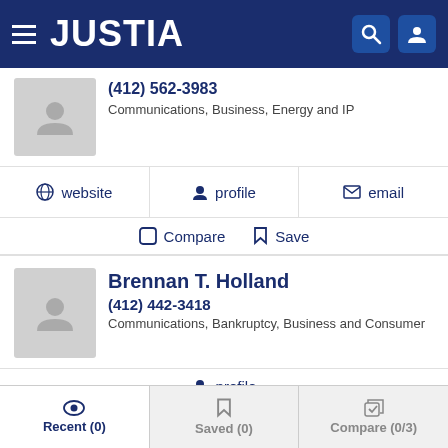JUSTIA
(412) 562-3983
Communications, Business, Energy and IP
website  profile  email
Compare  Save
Brennan T. Holland
(412) 442-3418
Communications, Bankruptcy, Business and Consumer
profile
Compare  Save
Recent (0)  Saved (0)  Compare (0/3)